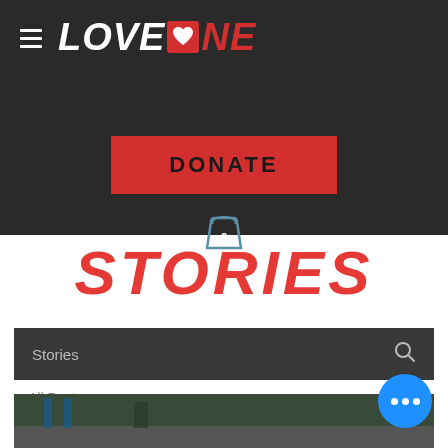[Figure (screenshot): Website header with LoveOne logo on dark background, hamburger menu icon on left]
LOVE ONE
DONATE
STORIES
Stories
All Posts
[Figure (photo): Outdoor street/parking lot scene with people and blue trash cans visible]